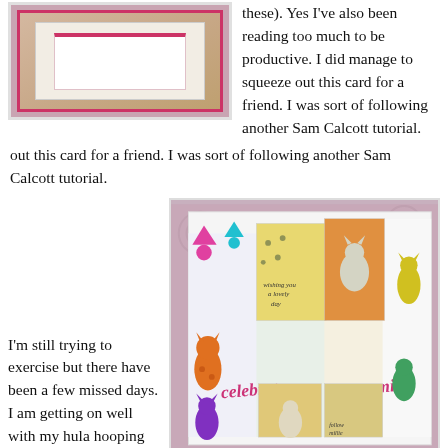[Figure (photo): Photo of a handmade greeting card with pink border on a patterned background]
these). Yes I've also been reading too much to be productive. I did manage to squeeze out this card for a friend. I was sort of following another Sam Calcott tutorial.
[Figure (photo): Photo of a handmade accordion/cascade style card featuring colorful cartoon cats with 'celebrate' and 'smile' text, yellow and orange panels with paw prints]
I'm still trying to exercise but there have been a few missed days. I am getting on well with my hula hooping though and I'm sure it is making a